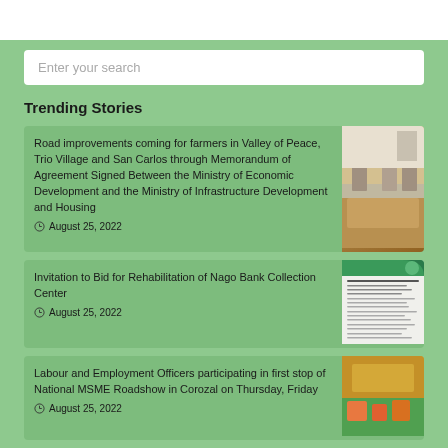Enter your search
Trending Stories
Road improvements coming for farmers in Valley of Peace, Trio Village and San Carlos through Memorandum of Agreement Signed Between the Ministry of Economic Development and the Ministry of Infrastructure Development and Housing
August 25, 2022
[Figure (photo): Meeting room with people seated around a table]
Invitation to Bid for Rehabilitation of Nago Bank Collection Center
August 25, 2022
[Figure (photo): Official document with green header]
Labour and Employment Officers participating in first stop of National MSME Roadshow in Corozal on Thursday, Friday
August 25, 2022
[Figure (photo): People participating in an event]